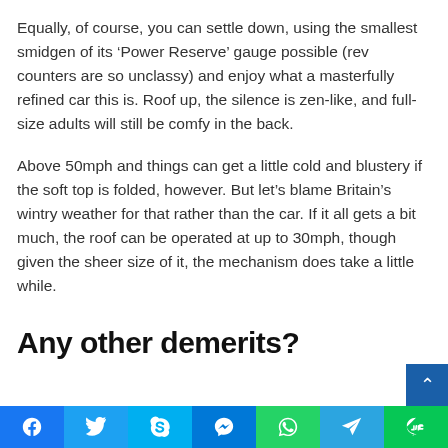Equally, of course, you can settle down, using the smallest smidgen of its ‘Power Reserve’ gauge possible (rev counters are so unclassy) and enjoy what a masterfully refined car this is. Roof up, the silence is zen-like, and full-size adults will still be comfy in the back.

Above 50mph and things can get a little cold and blustery if the soft top is folded, however. But let’s blame Britain’s wintry weather for that rather than the car. If it all gets a bit much, the roof can be operated at up to 30mph, though given the sheer size of it, the mechanism does take a little while.
Any other demerits?